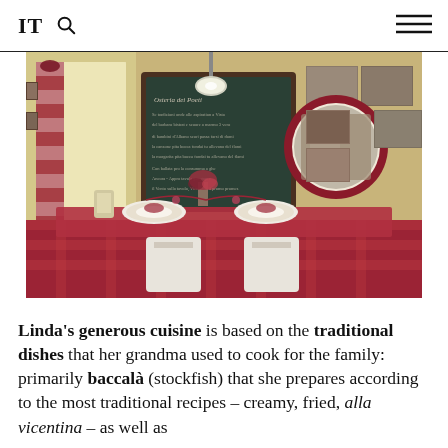IT 🔍 ☰
[Figure (photo): Interior of a traditional Italian trattoria with red and white checkered tablecloth, set table with plates and flowers, chalkboard menu on wall, framed photos, red-rimmed round mirror, pendant lamp.]
Linda's generous cuisine is based on the traditional dishes that her grandma used to cook for the family: primarily baccalà (stockfish) that she prepares according to the most traditional recipes – creamy, fried, alla vicentina – as well as